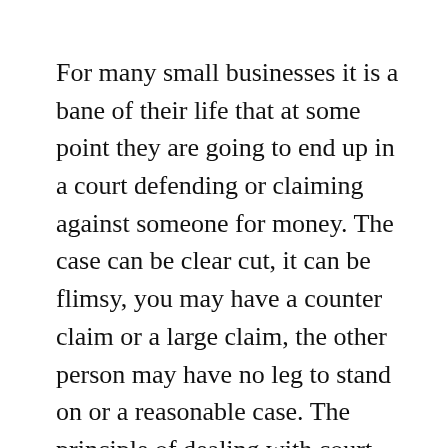For many small businesses it is a bane of their life that at some point they are going to end up in a court defending or claiming against someone for money. The case can be clear cut, it can be flimsy, you may have a counter claim or a large claim, the other person may have no leg to stand on or a reasonable case. The principle of dealing with court cases is always the same: know when and how to get out of the case with minimal risk to you or your company's finances and reputation.